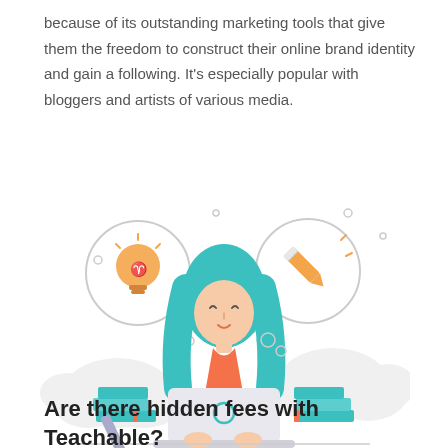because of its outstanding marketing tools that give them the freedom to construct their online brand identity and gain a following. It's especially popular with bloggers and artists of various media.
[Figure (illustration): Flat-style illustration of a woman with teal hair sitting at a laptop, with thought bubbles showing a lightbulb (idea) icon on the left and a pencil icon on the right, stacks of teal books on both sides, and decorative cloud shapes in the background.]
Are there hidden fees with Teachable?